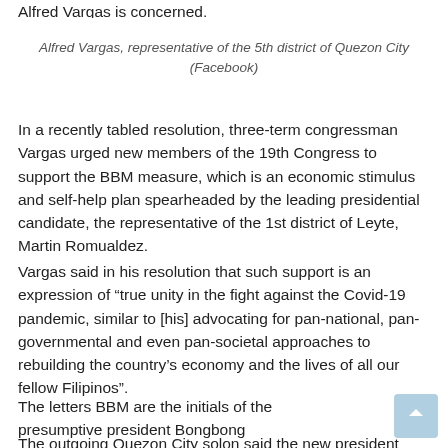Alfred Vargas is concerned.
Alfred Vargas, representative of the 5th district of Quezon City (Facebook)
In a recently tabled resolution, three-term congressman Vargas urged new members of the 19th Congress to support the BBM measure, which is an economic stimulus and self-help plan spearheaded by the leading presidential candidate, the representative of the 1st district of Leyte, Martin Romualdez.
Vargas said in his resolution that such support is an expression of “true unity in the fight against the Covid-19 pandemic, similar to [his] advocating for pan-national, pan-governmental and even pan-societal approaches to rebuilding the country’s economy and the lives of all our fellow Filipinos”.
The letters BBM are the initials of the presumptive president Bongbong Marcos.
The outgoing Quezon City solon said the new president would